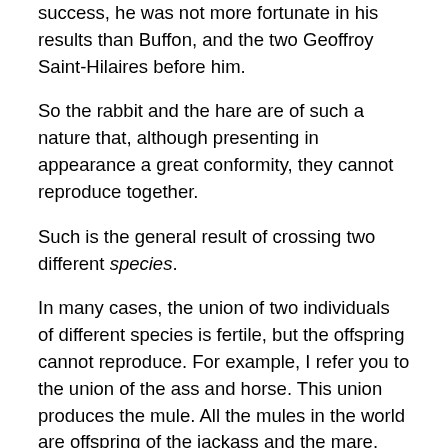success, he was not more fortunate in his results than Buffon, and the two Geoffroy Saint-Hilaires before him.
So the rabbit and the hare are of such a nature that, although presenting in appearance a great conformity, they cannot reproduce together.
Such is the general result of crossing two different species.
In many cases, the union of two individuals of different species is fertile, but the offspring cannot reproduce. For example, I refer you to the union of the ass and horse. This union produces the mule. All the mules in the world are offspring of the jackass and the mare. Now, these animals are numerous, for in Spain and in tropical America they are much preferred for work to horses, because of their resistance to fatigue. The hinny, less in demand, because less robust than the mule, is the result of an